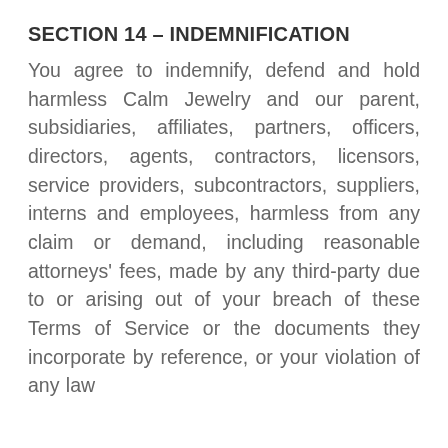SECTION 14 – INDEMNIFICATION
You agree to indemnify, defend and hold harmless Calm Jewelry and our parent, subsidiaries, affiliates, partners, officers, directors, agents, contractors, licensors, service providers, subcontractors, suppliers, interns and employees, harmless from any claim or demand, including reasonable attorneys' fees, made by any third-party due to or arising out of your breach of these Terms of Service or the documents they incorporate by reference, or your violation of any law